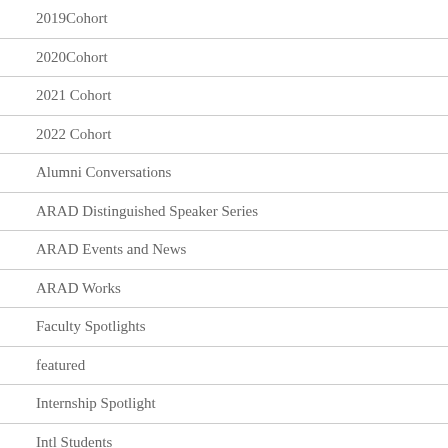2019Cohort
2020Cohort
2021 Cohort
2022 Cohort
Alumni Conversations
ARAD Distinguished Speaker Series
ARAD Events and News
ARAD Works
Faculty Spotlights
featured
Internship Spotlight
Intl Students
Microgrant Recipients